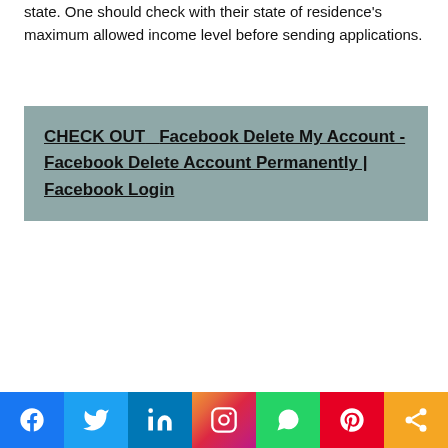state. One should check with their state of residence's maximum allowed income level before sending applications.
CHECK OUT   Facebook Delete My Account - Facebook Delete Account Permanently | Facebook Login
[Figure (other): Social sharing bar with icons for Facebook, Twitter, LinkedIn, Instagram, WhatsApp, Pinterest, and Share]